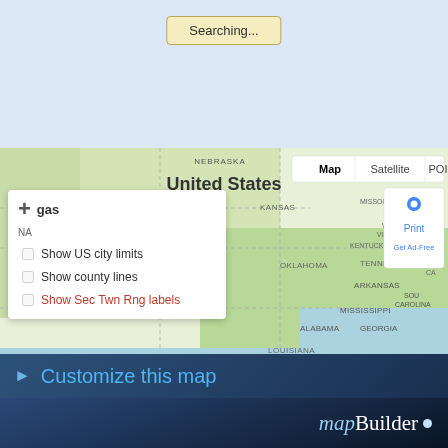[Figure (screenshot): A 'Searching...' button with yellow/tan background at top of UI]
[Figure (screenshot): Search bar with magnifier icon and placeholder 'Search places (e.g. address, city)']
[Figure (map): Google Maps screenshot showing United States map with Map/Satellite/POI controls, overlay panel with checkboxes: Show US city limits, Show county lines, Show Sec Twn Rng labels. Map footer: Keyboard shortcuts, Map data ©2022 Google INEGI, 500 km scale, Terms of Use]
Customize this map
mapBuilder